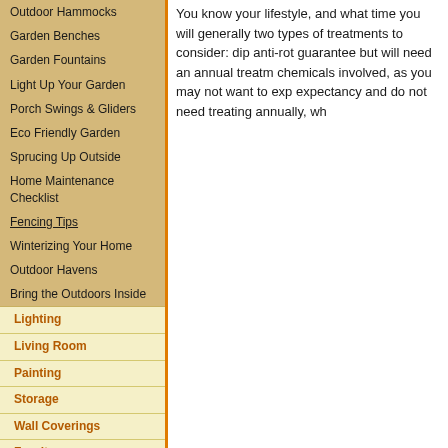Outdoor Hammocks
Garden Benches
Garden Fountains
Light Up Your Garden
Porch Swings & Gliders
Eco Friendly Garden
Sprucing Up Outside
Home Maintenance Checklist
Fencing Tips
Winterizing Your Home
Outdoor Havens
Bring the Outdoors Inside
Lighting
Living Room
Painting
Storage
Wall Coverings
Furniture
Flooring
Family Rooms
Apartments
You know your lifestyle, and what time you will generally two types of treatments to consider: dip anti-rot guarantee but will need an annual treatm chemicals involved, as you may not want to exp expectancy and do not need treating annually, wh